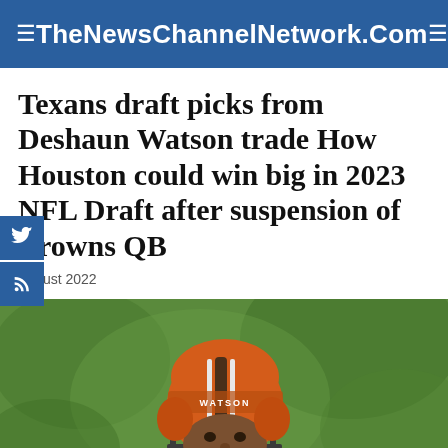TheNewsChannelNetwork.Com
Texans draft picks from Deshaun Watson trade How Houston could win big in 2023 NFL Draft after suspension of Browns QB
August 2022
[Figure (photo): Deshaun Watson wearing Cleveland Browns orange helmet with WATSON name on the back, in orange jersey, on a green grass background during practice]